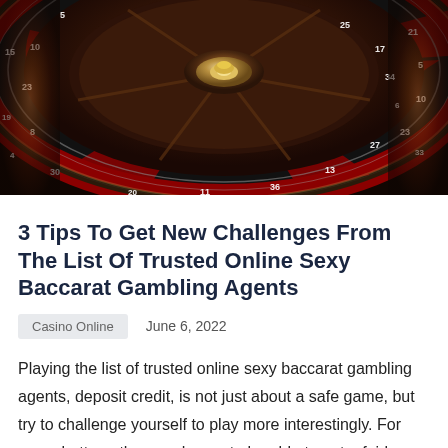[Figure (photo): Close-up photograph of a casino roulette wheel showing red and black numbered slots with the spinning disc, viewed from above at an angle. The wheel has a dark mahogany center with chrome accents.]
3 Tips To Get New Challenges From The List Of Trusted Online Sexy Baccarat Gambling Agents
Casino Online    June 6, 2022
Playing the list of trusted online sexy baccarat gambling agents, deposit credit, is not just about a safe game, but try to challenge yourself to play more interestingly. For some bettors, they are happy to be able to get a fairly large nominal money from trusted online casino live